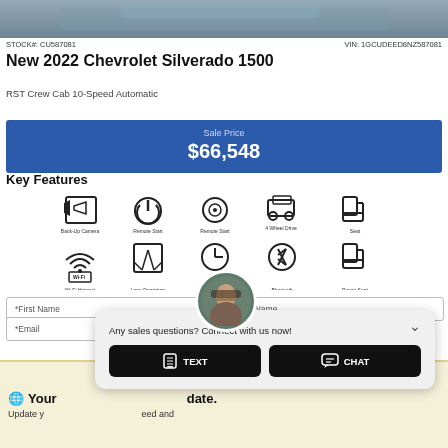[Figure (photo): Partial view of a vehicle (truck) photo at top of listing page]
STOCK#: CU587081   VIN: 1GCUDEED8NZ587081
New 2022 Chevrolet Silverado 1500
RST Crew Cab 10-Speed Automatic
Sale Price $66,548
Key Features
[Figure (infographic): Key features icons: Back-Up Camera, Remote Start, Remote Start (second icon), 4 Wheel Drive, Seat icon, Wi-Fi, Lane Departure System, Clock/Time icon, Bluetooth, Power Seat]
[Figure (photo): Chat agent avatar photo - woman with glasses]
*First Name
*Last Name
*Email
Any sales questions? Connect with us now!
TEXT
CHAT
You r date. Update y eed and